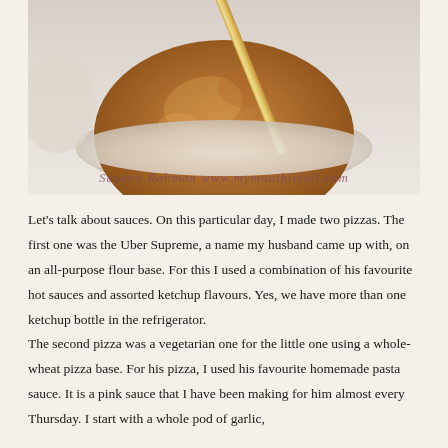[Figure (photo): Overhead photo of a white ceramic bowl containing an orange-brown sauce or dip with a wooden toothpick/skewer inserted in it, on a light background. Watermark text reads: Sayana Rahman   www.mymouthisfull.com]
Let’s talk about sauces. On this particular day, I made two pizzas. The first one was the Uber Supreme, a name my husband came up with, on an all-purpose flour base. For this I used a combination of his favourite hot sauces and assorted ketchup flavours. Yes, we have more than one ketchup bottle in the refrigerator.
The second pizza was a vegetarian one for the little one using a whole-wheat pizza base. For his pizza, I used his favourite homemade pasta sauce. It is a pink sauce that I have been making for him almost every Thursday. I start with a whole pod of garlic,